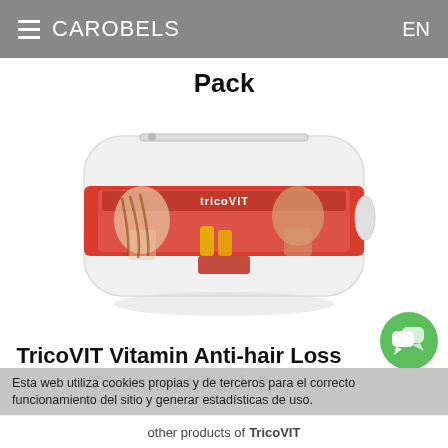☰ CAROBELS   EN
Pack
[Figure (photo): TricoVIT hair treatment pack product box displayed in a white cosmetic pouch, showing a woman with long red hair and a man applying treatment to his scalp.]
TricoVIT Vitamin Anti-hair Loss Treatment Pack 2
Esta web utiliza cookies propias y de terceros para el correcto funcionamiento del sitio y generar estadísticas de uso.
other products of TricoVIT